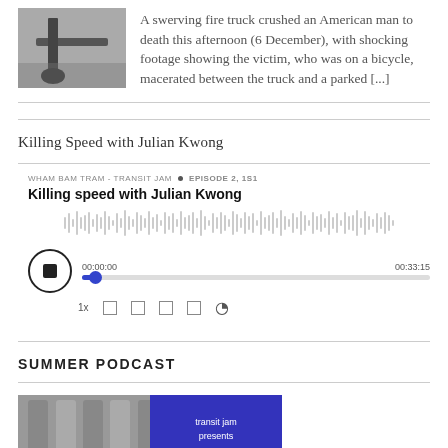[Figure (photo): Close-up photo of a bicycle wheel or shoe near a vehicle, dark tones]
A swerving fire truck crushed an American man to death this afternoon (6 December), with shocking footage showing the victim, who was on a bicycle, macerated between the truck and a parked [...]
Killing Speed with Julian Kwong
WHAM BAM TRAM - TRANSIT JAM • EPISODE 2, 1S1
Killing speed with Julian Kwong
[Figure (screenshot): Podcast player widget with waveform, progress bar at 00:00:00 of 00:33:15, stop button, playback speed 1x and control icons]
SUMMER PODCAST
[Figure (photo): Split image: metallic industrial pipes on left, blue graphic with 'transit jam presents' text on right]